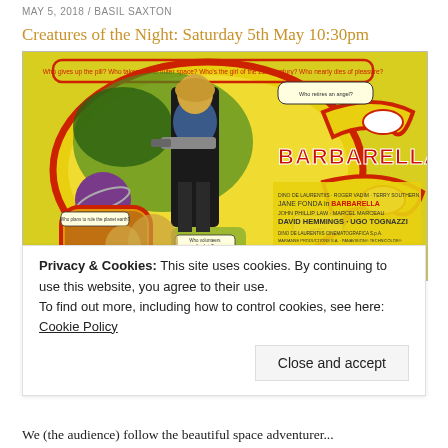MAY 5, 2018 / BASIL SAXTON
Creatures of the Night: Saturday 5th May 10:30pm
[Figure (photo): Barbarella (1968) movie poster featuring Jane Fonda as Barbarella holding a futuristic weapon, with yellow and red psychedelic design, speech bubble text, and credits including David Hemmings, Ugo Tognazzi, John Phillip Law, Marcel Marceau]
Privacy & Cookies: This site uses cookies. By continuing to use this website, you agree to their use.
To find out more, including how to control cookies, see here: Cookie Policy
Close and accept
We (the audience) follow the beautiful space adventurer...